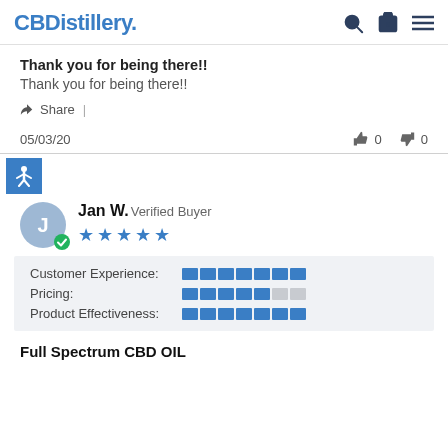CBDDistillery. [search] [cart 0] [menu]
Thank you for being there!!
Thank you for being there!!
Share
05/03/20   👍 0   👎 0
[Figure (other): Accessibility icon button (person with arms out on blue background)]
Jan W. Verified Buyer ★★★★★
| Category | Rating |
| --- | --- |
| Customer Experience: | full (7/7 bars) |
| Pricing: | partial (5/7 bars) |
| Product Effectiveness: | full (7/7 bars) |
Full Spectrum CBD OIL